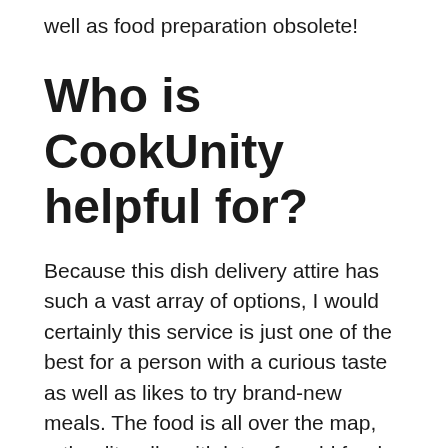well as food preparation obsolete!
Who is CookUnity helpful for?
Because this dish delivery attire has such a vast array of options, I would certainly this service is just one of the best for a person with a curious taste as well as likes to try brand-new meals. The food is all over the map, rather literally, with lots of world foods represented, yet there is consistency in high quality and all of the meals I attempted went to least solid or better.
There are a lot of healthy, low-carb, vegan and also paleo options so this is a good dish